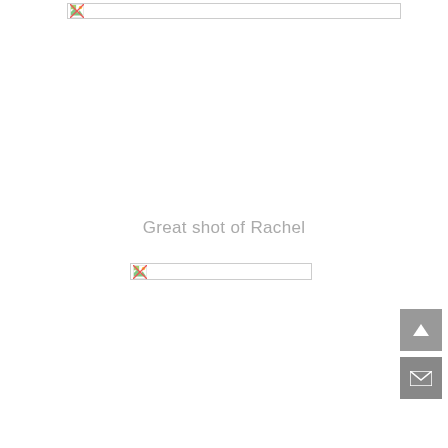[Figure (other): Broken/unloaded image placeholder at top of page — horizontal bar with broken image icon on left]
Great shot of Rachel
[Figure (other): Broken/unloaded image placeholder — horizontal bar with broken image icon on left]
[Figure (other): Navigation button: scroll-to-top arrow button (grey)]
[Figure (other): Navigation button: email/contact envelope button (grey)]